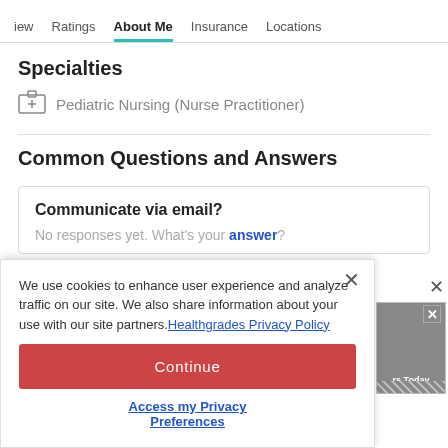iew   Ratings   About Me   Insurance   Locations
Specialties
Pediatric Nursing (Nurse Practitioner)
Common Questions and Answers
Communicate via email?
No responses yet. What's your answer?
We use cookies to enhance user experience and analyze traffic on our site. We also share information about your use with our site partners. Healthgrades Privacy Policy
Continue
Access my Privacy Preferences